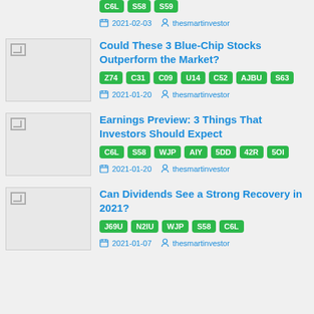[partial article top] Tags: C6L, S58, S59 | 2021-02-03 | thesmartinvestor
Could These 3 Blue-Chip Stocks Outperform the Market? | Tags: Z74, C31, C09, U14, C52, AJBU, S63 | 2021-01-20 | thesmartinvestor
Earnings Preview: 3 Things That Investors Should Expect | Tags: C6L, S58, WJP, AIY, 5DD, 42R, 5OI | 2021-01-20 | thesmartinvestor
Can Dividends See a Strong Recovery in 2021? | Tags: J69U, N2IU, WJP, S58, C6L | 2021-01-07 | thesmartinvestor